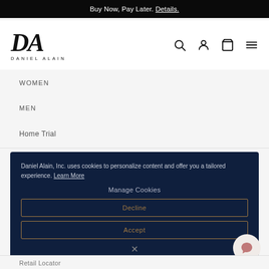Buy Now, Pay Later. Details.
[Figure (logo): Daniel Alain logo with stylized DA lettermark and brand name text]
WOMEN
MEN
Home Trial
Daniel Alain, Inc. uses cookies to personalize content and offer you a tailored experience. Learn More
Manage Cookies
Decline
Accept
Retail Locator